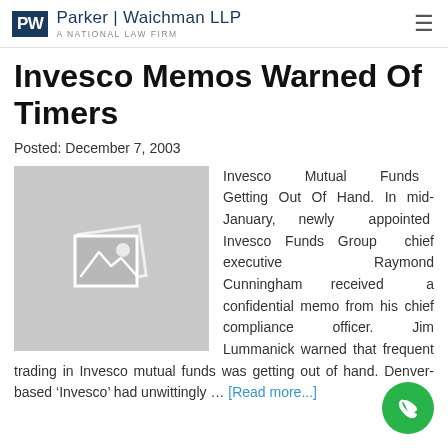Parker | Waichman LLP — A National Law Firm
Invesco Memos Warned Of Timers
Posted: December 7, 2003
[Figure (photo): Placeholder image with camera/photo icon]
Invesco Mutual Funds Getting Out Of Hand. In mid-January, newly appointed Invesco Funds Group chief executive Raymond Cunningham received a confidential memo from his chief compliance officer. Jim Lummanick warned that frequent trading in Invesco mutual funds was getting out of hand. Denver-based 'Invesco' had unwittingly … [Read more...]